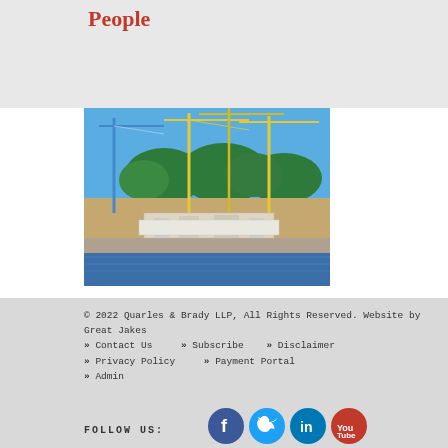People
[Figure (photo): Construction site near water with multiple yellow tower cranes, trees in background, blue sky, rocky waterfront]
© 2022 Quarles & Brady LLP, All Rights Reserved. Website by Great Jakes
» Contact Us   »» Subscribe   »» Disclaimer
»» Privacy Policy   »» Payment Portal
»» Admin
FOLLOW US:
[Figure (logo): Social media icons: Facebook (blue circle), Twitter (light blue circle), LinkedIn (blue circle), YouTube (red circle)]